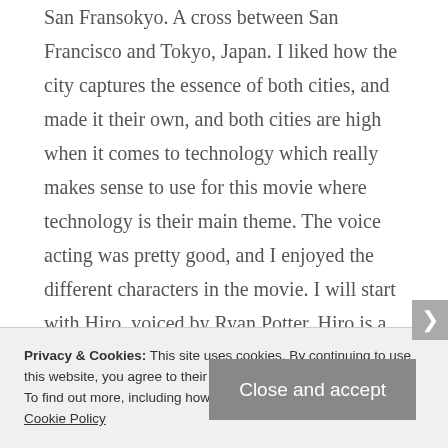San Fransokyo. A cross between San Francisco and Tokyo, Japan. I liked how the city captures the essence of both cities, and made it their own, and both cities are high when it comes to technology which really makes sense to use for this movie where technology is their main theme. The voice acting was pretty good, and I enjoyed the different characters in the movie. I will start with Hiro, voiced by Ryan Potter. Hiro is a boy genious who graduated from high school early, but isn't sure what to do with his life. So he decided to go to illegal robot battles where he is successful in
Privacy & Cookies: This site uses cookies. By continuing to use this website, you agree to their use.
To find out more, including how to control cookies, see here: Cookie Policy